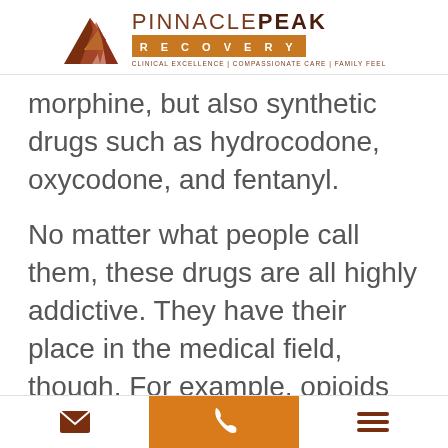[Figure (logo): Pinnacle Peak Recovery logo with mountain graphic and tagline: CLINICAL EXCELLENCE | COMPASSIONATE CARE | FAMILY FEEL]
morphine, but also synthetic drugs such as hydrocodone, oxycodone, and fentanyl.
No matter what people call them, these drugs are all highly addictive. They have their place in the medical field, though. For example, opioids and
[Figure (other): Bottom navigation bar with email icon, phone icon (orange background), and hamburger menu icon]